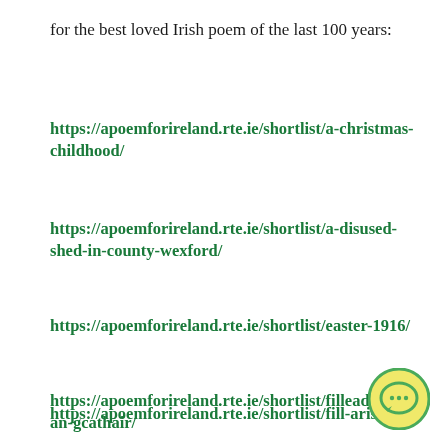for the best loved Irish poem of the last 100 years:
https://apoemforireland.rte.ie/shortlist/a-christmas-childhood/
https://apoemforireland.rte.ie/shortlist/a-disused-shed-in-county-wexford/
https://apoemforireland.rte.ie/shortlist/easter-1916/
https://apoemforireland.rte.ie/shortlist/fill-aris/
https://apoemforireland.rte.ie/shortlist/filleadh-ar-an-gcathair/
[Figure (illustration): Yellow circular chat button with speech bubble icon and three dots, green border]